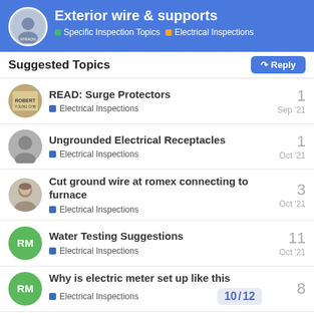Exterior wire & supports — Specific Inspection Topics > Electrical Inspections
Suggested Topics
READ: Surge Protectors — Electrical Inspections — 1 — Sep '21
Ungrounded Electrical Receptacles — Electrical Inspections — 1 — Oct '21
Cut ground wire at romex connecting to furnace — Electrical Inspections — 3 — Oct '21
Water Testing Suggestions — Electrical Inspections — 11 — Oct '21
Why is electric meter set up like this — Electrical Inspections — 8
10 / 12